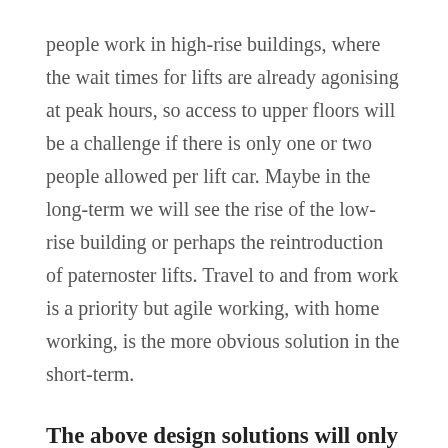people work in high-rise buildings, where the wait times for lifts are already agonising at peak hours, so access to upper floors will be a challenge if there is only one or two people allowed per lift car. Maybe in the long-term we will see the rise of the low-rise building or perhaps the reintroduction of paternoster lifts. Travel to and from work is a priority but agile working, with home working, is the more obvious solution in the short-term.
The above design solutions will only work if the right behaviours are in place alongside good leadership.